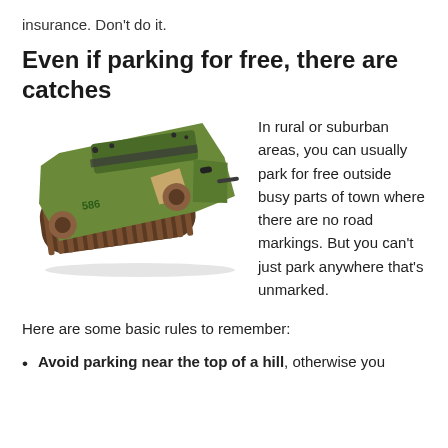insurance. Don't do it.
Even if parking for free, there are catches
[Figure (photo): A World War I era tank (Mark IV style), olive/green camouflage with dark brown tracks, viewed from a slightly elevated front-left angle on a white background.]
In rural or suburban areas, you can usually park for free outside busy parts of town where there are no road markings. But you can't just park anywhere that's unmarked.
Here are some basic rules to remember:
Avoid parking near the top of a hill, otherwise you